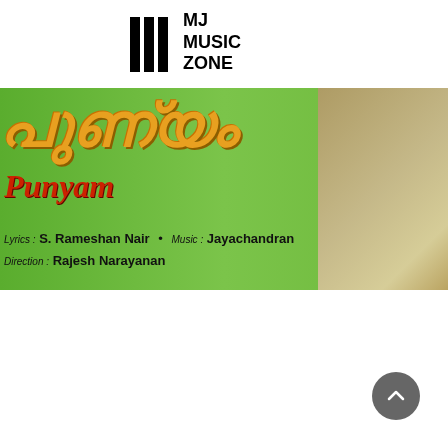[Figure (logo): MJ Music Zone logo with three vertical bars and text MJ MUSIC ZONE]
[Figure (photo): Album cover for Punyam - Malayalam film soundtrack. Green background with Malayalam script title in orange/gold, subtitle 'Punyam' in red italic. Credits: Lyrics: S. Rameshan Nair, Music: Jayachandran, Direction: Rajesh Narayanan. Person visible at right edge.]
[Figure (other): Scroll-to-top circular button in dark grey with upward chevron arrow]